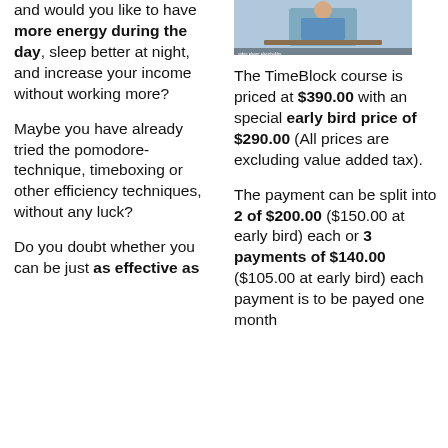[Figure (photo): Photo of a man in a blue shirt sitting at a desk, cropped at the top]
and would you like to have more energy during the day, sleep better at night, and increase your income without working more?
The TimeBlock course is priced at $390.00 with an special early bird price of $290.00 (All prices are excluding value added tax).
Maybe you have already tried the pomodore-technique, timeboxing or other efficiency techniques, without any luck?
The payment can be split into 2 of $200.00 ($150.00 at early bird) each or 3 payments of $140.00 ($105.00 at early bird) each payment is to be payed one month
Do you doubt whether you can be just as effective as